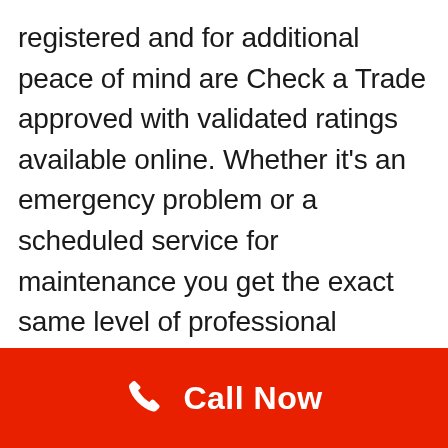registered and for additional peace of mind are Check a Trade approved with validated ratings available online. Whether it's an emergency problem or a scheduled service for maintenance you get the exact same level of professional service at all times on all projects. Our engineers are routinely vetted and have to sustain their accreditation to work within the industry.
[Figure (other): Red footer bar with a white phone handset icon and 'Call Now' text in white]